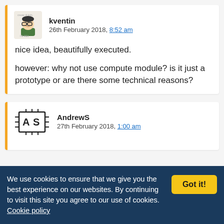[Figure (illustration): Avatar cartoon illustration of user kventin - character with glasses]
kventin
26th February 2018, 8:52 am
nice idea, beautifully executed.

however: why not use compute module? is it just a prototype or are there some technical reasons?
[Figure (logo): AndrewS logo with letters A and S in a chip/component style box]
AndrewS
27th February 2018, 1:00 am
We use cookies to ensure that we give you the best experience on our websites. By continuing to visit this site you agree to our use of cookies. Cookie policy